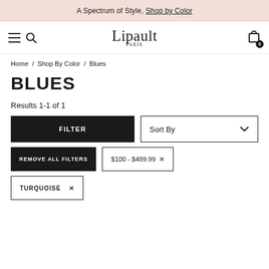A Spectrum of Style, Shop by Color
[Figure (logo): Lipault Paris brand logo with hamburger menu and search icons on the left, and a shopping cart icon with badge showing 0 on the right]
Home / Shop By Color / Blues
BLUES
Results 1-1 of 1
FILTER | Sort By
REMOVE ALL FILTERS | $100 - $499.99 ×
TURQUOISE ×